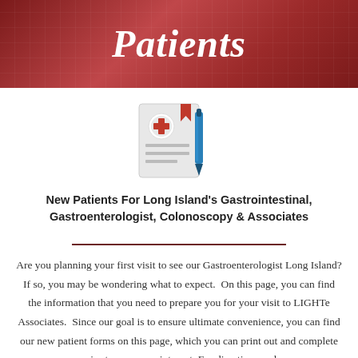Patients
[Figure (illustration): Medical clipboard/document icon with a red cross and a blue pen]
New Patients For Long Island's Gastrointestinal, Gastroenterologist, Colonoscopy & Associates
Are you planning your first visit to see our Gastroenterologist Long Island? If so, you may be wondering what to expect. On this page, you can find the information that you need to prepare you for your visit to LIGHTe Associates. Since our goal is to ensure ultimate convenience, you can find our new patient forms on this page, which you can print out and complete prior to your appointment. For directions and